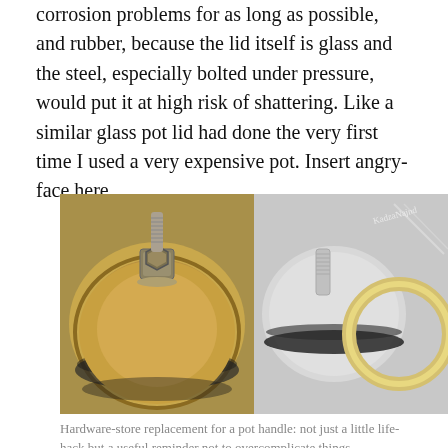corrosion problems for as long as possible, and rubber, because the lid itself is glass and the steel, especially bolted under pressure, would put it at high risk of shattering. Like a similar glass pot lid had done the very first time I used a very expensive pot. Insert angry-face here.
[Figure (photo): Two side-by-side photos of hardware-store pot handle replacements: left shows a brass/gold-toned flat disc with a bolt and nut on top and rubber gasket ring beneath; right shows a stainless steel disc with a ring bolt (eye bolt) and rubber gasket rings.]
Hardware-store replacement for a pot handle: not just a little life-hack but a useful reminder not to overcomplicate things.
The little fix, though hardly an aesthetic thrill, seems to do the trick perfectly well, as as long as the electrical innards